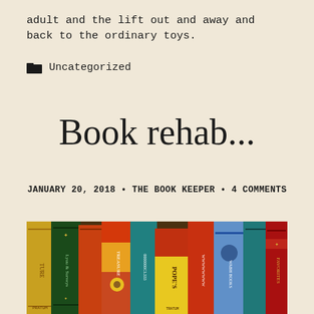adult and the lift out and away and back to the ordinary toys.
📁 Uncategorized
Book rehab...
JANUARY 20, 2018 • THE BOOK KEEPER • 4 COMMENTS
[Figure (photo): Colorful antique book spines arranged side by side, showing ornate decorative covers in various colors including green, red, blue, yellow and orange with gilded text and patterns. Visible titles include Pope's and Treasure.]